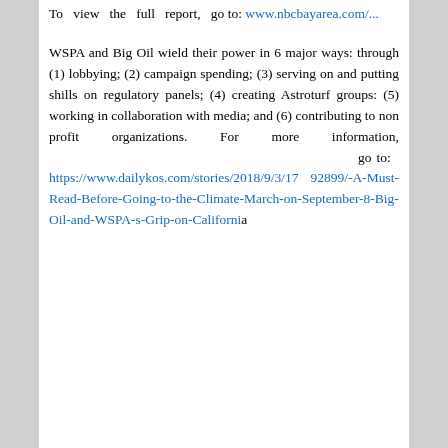To view the full report, go to: www.nbcbayarea.com/...
WSPA and Big Oil wield their power in 6 major ways: through (1) lobbying; (2) campaign spending; (3) serving on and putting shills on regulatory panels; (4) creating Astroturf groups: (5) working in collaboration with media; and (6) contributing to non profit organizations. For more information, go to: https://www.dailykos.com/stories/2018/9/3/1792899/-A-Must-Read-Before-Going-to-the-Climate-March-on-September-8-Big-Oil-and-WSPA-s-Grip-on-California